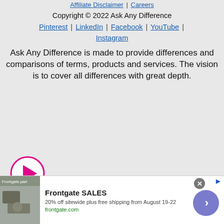Affiliate Disclaimer | Careers
Copyright © 2022 Ask Any Difference
Pinterest | LinkedIn | Facebook | YouTube | Instagram
Ask Any Difference is made to provide differences and comparisons of terms, products and services. The vision is to cover all differences with great depth.
[Figure (other): Play button icon — pink outlined circle with a solid pink triangle pointing right]
[Figure (other): Advertisement banner for Frontgate SALES: 20% off sitewide plus free shipping from August 19-22, frontgate.com, with an outdoor furniture image and a blue arrow button]